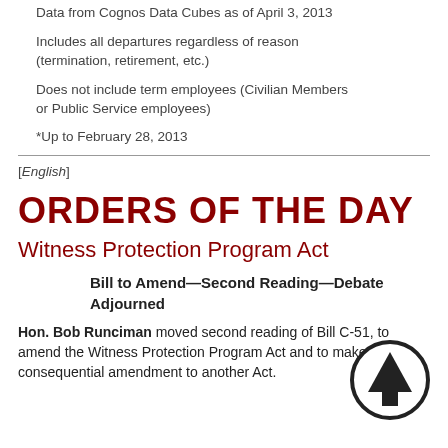Data from Cognos Data Cubes as of April 3, 2013
Includes all departures regardless of reason (termination, retirement, etc.)
Does not include term employees (Civilian Members or Public Service employees)
*Up to February 28, 2013
[English]
ORDERS OF THE DAY
Witness Protection Program Act
Bill to Amend—Second Reading—Debate Adjourned
Hon. Bob Runciman moved second reading of Bill C-51, to amend the Witness Protection Program Act and to make a consequential amendment to another Act.